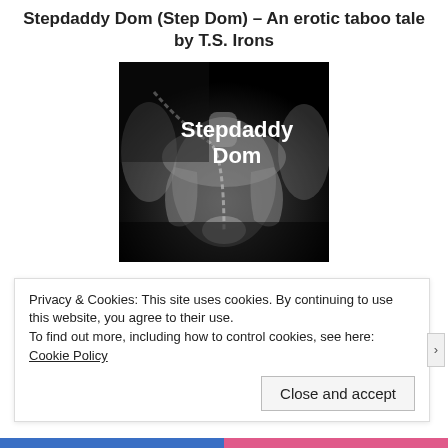Stepdaddy Dom (Step Dom) – An erotic taboo tale by T.S. Irons
[Figure (photo): Book cover image for 'Stepdaddy Dom' showing a muscular male figure in black and white holding a chain, with the title 'Stepdaddy Dom' in white bold text on a dark background.]
Privacy & Cookies: This site uses cookies. By continuing to use this website, you agree to their use.
To find out more, including how to control cookies, see here: Cookie Policy
Close and accept